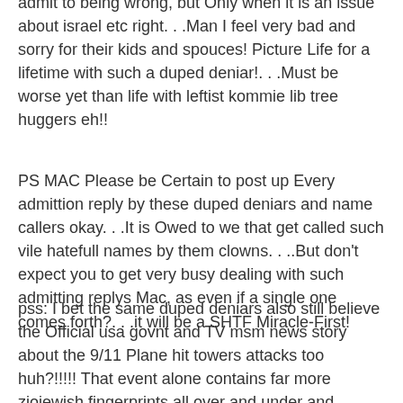admit to being wrong, but Only when it is an issue about israel etc right. . .Man I feel very bad and sorry for their kids and spouces! Picture Life for a lifetime with such a duped deniar!. . .Must be worse yet than life with leftist kommie lib tree huggers eh!!
PS MAC Please be Certain to post up Every admittion reply by these duped deniars and name callers okay. . .It is Owed to we that get called such vile hatefull names by them clowns. . ..But don't expect you to get very busy dealing with such admitting replys Mac, as even if a single one comes forth?. . .it will be a SHTF Miracle-First!
pss: I bet the same duped deniars also still believe the Official usa govnt and TV msm news story about the 9/11 Plane hit towers attacks too huh?!!!!! That event alone contains far more ziojewish fingerprints all over and under and around it, than the Past 50 similar events that also contain a mass of same perps prints!